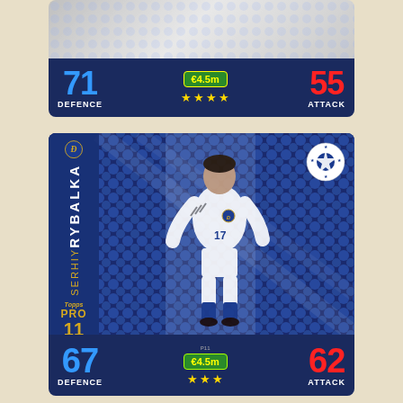[Figure (photo): Top portion of a Topps Match Attax UEFA Champions League trading card showing partial stats: DEFENCE 71 (blue), price badge €4.5m (green), ATTACK 55 (red), and 4 gold stars rating.]
[Figure (photo): Topps Match Attax UEFA Champions League trading card for Serhiy Rybalka (Dynamo Kyiv). Player shown in white Dynamo kit with number 17. Card shows: DEFENCE 67 (blue), €4.5m price, ATTACK 62 (red), 3 gold stars, PRO 11 badge, Topps logo, UCL logo. Player name shown vertically on left blue stripe.]